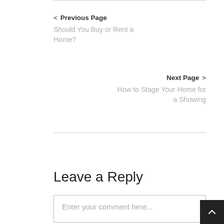< Previous Page
Should You Buy or Rent a Home?
Next Page >
How to Stage Your Home for a Showing
Leave a Reply
Enter your comment here...